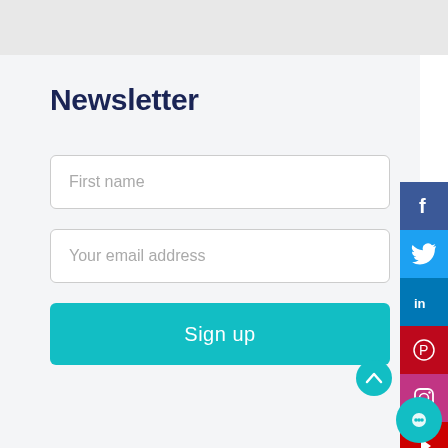Newsletter
First name
Your email address
Sign up